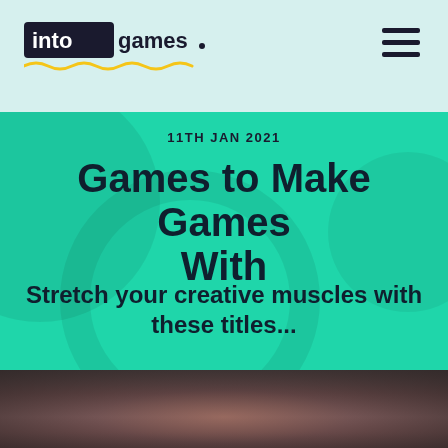intogames navigation header
11TH JAN 2021
Games to Make Games With
Stretch your creative muscles with these titles...
[Figure (photo): Dark blurred photo at bottom of page, appears to show a person's hands or similar dark imagery]